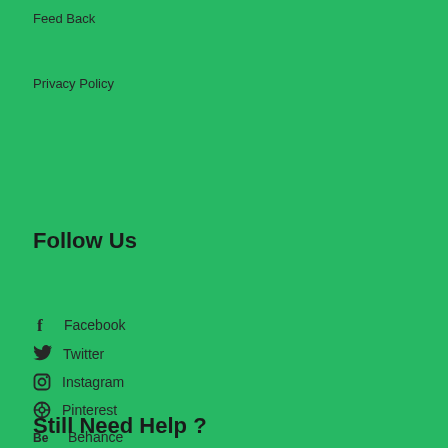Feed Back
Privacy Policy
Follow Us
Facebook
Twitter
Instagram
Pinterest
Behance
Google
Still Need Help ?